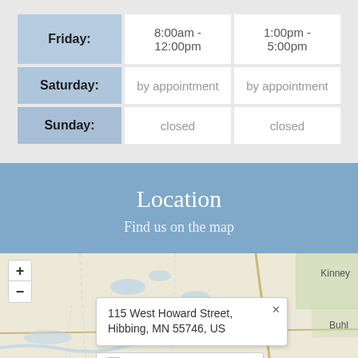| Day | Morning | Afternoon |
| --- | --- | --- |
| Friday: | 8:00am - 12:00pm | 1:00pm - 5:00pm |
| Saturday: | by appointment | by appointment |
| Sunday: | closed | closed |
Location
Find us on the map
[Figure (map): Map showing location at 115 West Howard Street, Hibbing, MN 55746, US with zoom controls and a popup label. Kinney and Buhl are visible place names.]